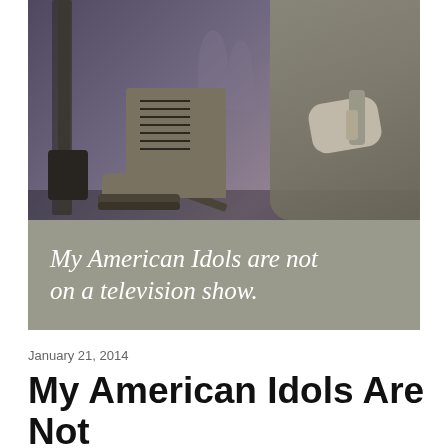[Figure (photo): Black and white / purple-tinted photograph showing military boots and a soldier in camouflage uniform holding equipment, with a rifle visible on the left side. A text overlay banner reads 'My American Idols are not on a television show.']
January 21, 2014
My American Idols Are Not on a Television Show